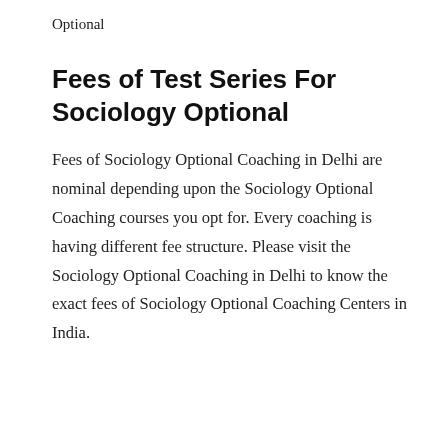Optional
Fees of Test Series For Sociology Optional
Fees of Sociology Optional Coaching in Delhi are nominal depending upon the Sociology Optional Coaching courses you opt for. Every coaching is having different fee structure. Please visit the Sociology Optional Coaching in Delhi to know the exact fees of Sociology Optional Coaching Centers in India.